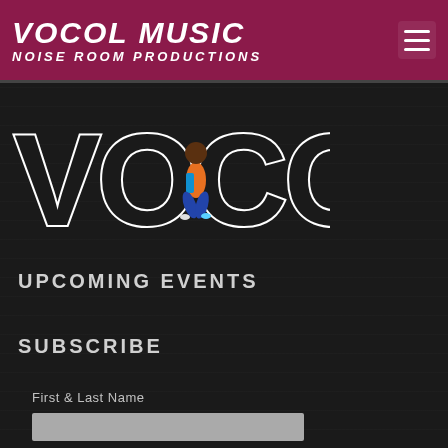VOCOL MUSIC NOISE ROOM PRODUCTIONS
[Figure (logo): VOCOL large outlined block-letter text logo on dark background with a person crouching inside the letter O]
UPCOMING EVENTS
SUBSCRIBE
First & Last Name